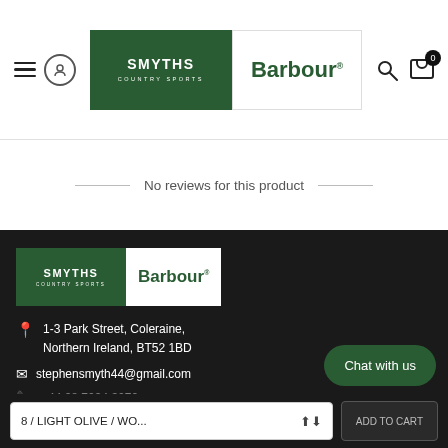[Figure (logo): Smyths Country Sports and Barbour combined logo in header navigation bar]
No reviews for this product
[Figure (logo): Smyths Country Sports and Barbour combined logo in footer]
1-3 Park Street, Coleraine, Northern Ireland, BT52 1BD
stephensmyth44@gmail.com
+44 28 7034 3070
Chat with us
8 / LIGHT OLIVE / WO...